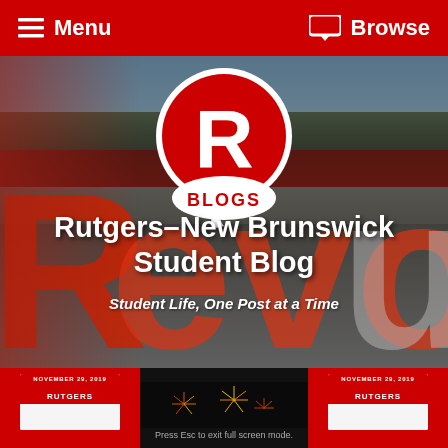Menu   Browse
[Figure (photo): Hero banner image showing Rutgers mascot and large red R letters on campus, with R Blogs logo overlaid (red circle with white R and BLOGS text below), and site title text overlay]
Rutgers–New Brunswick Student Blog
Student Life, One Post at a Time
[Figure (photo): Bottom strip showing three content cards: two red Rutgers-branded cards on the sides and a dark card in the center with fireworks and text 'Press Esc to exit full screen mode.']